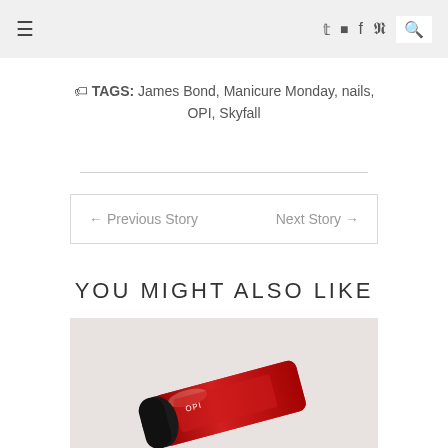≡  ✦ ☷ f 𝗣  🔍
TAGS: James Bond, Manicure Monday, nails, OPI, Skyfall
← Previous Story    Next Story →
YOU MIGHT ALSO LIKE
[Figure (photo): A red OPI nail polish bottle lying on its side on a light background]